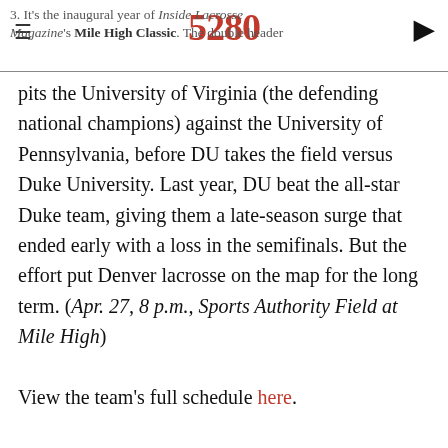3. It's the inaugural year of Inside Lacrosse Magazine's Mile High Classic. The double header
pits the University of Virginia (the defending national champions) against the University of Pennsylvania, before DU takes the field versus Duke University. Last year, DU beat the all-star Duke team, giving them a late-season surge that ended early with a loss in the semifinals. But the effort put Denver lacrosse on the map for the long term. (Apr. 27, 8 p.m., Sports Authority Field at Mile High)

View the team's full schedule here.